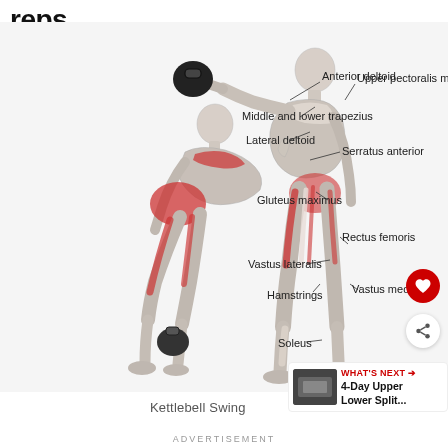reps
[Figure (illustration): Anatomical illustration of a kettlebell swing exercise showing two male figures in different phases of the movement. The figure on the left is bent forward in the starting/backswing position. The figure on the right is standing upright with arm extended forward holding a kettlebell. Muscles are labeled with lines: Anterior deltoid, Upper pectoralis major, Middle and lower trapezius, Lateral deltoid, Serratus anterior, Gluteus maximus, Rectus femoris, Vastus lateralis, Hamstrings, Vastus medialis, Soleus. Primary muscles (shown in red) include glutes, hamstrings, quadriceps.]
Kettlebell Swing
ADVERTISEMENT
WHAT'S NEXT → 4-Day Upper Lower Split...